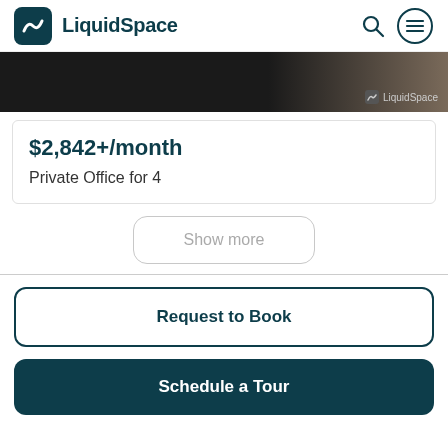LiquidSpace
[Figure (photo): Dark interior office photo with LiquidSpace watermark]
$2,842+/month
Private Office for 4
Show more
Request to Book
Schedule a Tour